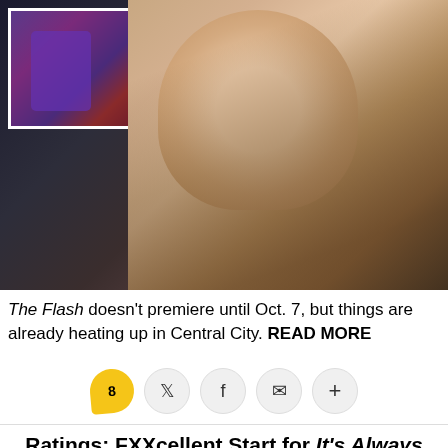[Figure (photo): Large photo of a woman with wavy brown hair against a dark background, with an inset comic book image in the upper left showing purple and red superhero figures]
The Flash doesn't premiere until Oct. 7, but things are already heating up in Central City. READ MORE
[Figure (infographic): Social sharing bar with comment (8), Twitter, Facebook, email, and plus buttons]
Ratings: FXXcellent Start for It's Always Sunny and The League In New Cable Home